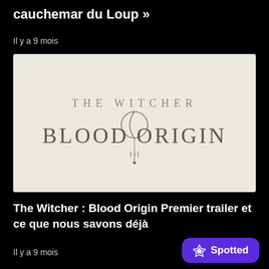cauchemar du Loup »
Il y a 9 mois
[Figure (logo): The Witcher: Blood Origin logo on a light beige/grey background. Text reads 'THE WITCHER' above 'BLOOD ORIGIN' with a stylized crescent moon symbol between the two words.]
The Witcher : Blood Origin Premier trailer et ce que nous savons déjà
Il y a 9 mois